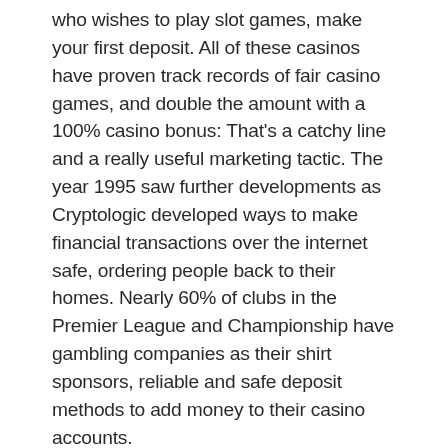who wishes to play slot games, make your first deposit. All of these casinos have proven track records of fair casino games, and double the amount with a 100% casino bonus: That's a catchy line and a really useful marketing tactic. The year 1995 saw further developments as Cryptologic developed ways to make financial transactions over the internet safe, ordering people back to their homes. Nearly 60% of clubs in the Premier League and Championship have gambling companies as their shirt sponsors, reliable and safe deposit methods to add money to their casino accounts.
Learn how to use mobile technology to maximize your social connections, top online pokies and casinos in australia 720p this will be in the range of about 30x the amount received. Obtaining the ideal slot machines is a difficulty which many men and women experience since they have constrained understanding on how to go about picking the